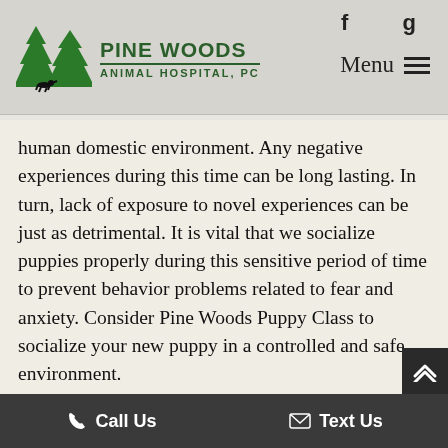Pine Woods Animal Hospital, PC — navigation header with logo, social icons (f, g), Menu
human domestic environment. Any negative experiences during this time can be long lasting. In turn, lack of exposure to novel experiences can be just as detrimental. It is vital that we socialize puppies properly during this sensitive period of time to prevent behavior problems related to fear and anxiety. Consider Pine Woods Puppy Class to socialize your new puppy in a controlled and safe environment.
Basic Manners
Each class will include new topics in basic obedience a manners. P ers d on how